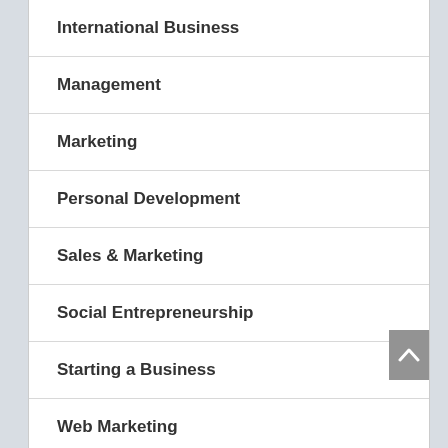International Business
Management
Marketing
Personal Development
Sales & Marketing
Social Entrepreneurship
Starting a Business
Web Marketing
Young Entrepreneurship